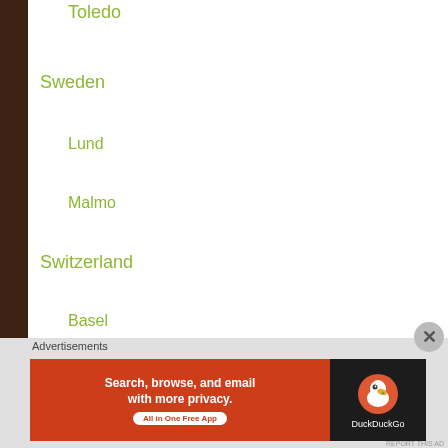Toledo
Sweden
Lund
Malmo
Switzerland
Basel
Lucerne
Zurich (coming soon)
The Netherlands
Amsterdam
Advertisements
[Figure (screenshot): DuckDuckGo advertisement banner: 'Search, browse, and email with more privacy. All in One Free App' with DuckDuckGo duck logo on dark background]